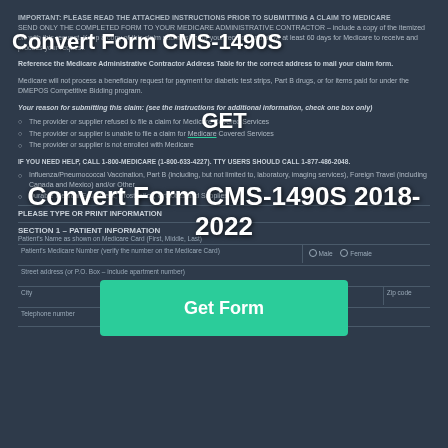Convert Form CMS-1490S
IMPORTANT: PLEASE READ THE ATTACHED INSTRUCTIONS PRIOR TO SUBMITTING A CLAIM TO MEDICARE
SEND ONLY THE COMPLETED FORM TO YOUR MEDICARE ADMINISTRATIVE CONTRACTOR – include a copy of the itemized bill with this request. Keep a copy of this claim submission for your records and allow at least 60 days for Medicare to receive and process your request.
Reference the Medicare Administrative Contractor Address Table for the correct address to mail your claim form.
Medicare will not process a beneficiary request for payment for diabetic test strips, Part B drugs, or for items paid for under the DMEPOS Competitive Bidding program.
Your reason for submitting this claim: (see the instructions for additional information, check one box only)
GET
The provider or supplier refused to file a claim for Medicare Covered Services
The provider or supplier is unable to file a claim for Medicare Covered Services
The provider or supplier is not enrolled with Medicare
IF YOU NEED HELP, CALL 1-800-MEDICARE (1-800-633-4227). TTY USERS SHOULD CALL 1-877-486-2048.
Convert Form CMS-1490S 2018-2022
Influenza/Pneumococcal Vaccination, Part B (including, but not limited to, laboratory, imaging services), Foreign Travel (including Canada and Mexico) and/or Other
Durable Medical Equipment, Prosthetics, Orthotics and Supplies
PLEASE TYPE OR PRINT INFORMATION
SECTION 1 – PATIENT INFORMATION
Patient's Name as shown on Medicare Card (First, Middle, Last)
Patient's Medicare Number (verify the number on the Medicare Card)
Male  Female
Street address (or P.O. Box – include apartment number)
City
State
Zip code
Telephone number
[Figure (other): Get Form button overlay (teal/green CTA button)]